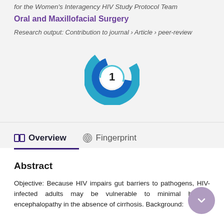for the Women's Interagency HIV Study Protocol Team
Oral and Maxillofacial Surgery
Research output: Contribution to journal › Article › peer-review
[Figure (other): Scopus citation badge showing citation count of 1, displayed as a circular blue swirl logo with the number 1 in a white circle center]
Overview
Fingerprint
Abstract
Objective: Because HIV impairs gut barriers to pathogens, HIV-infected adults may be vulnerable to minimal hepatic encephalopathy in the absence of cirrhosis. Background: